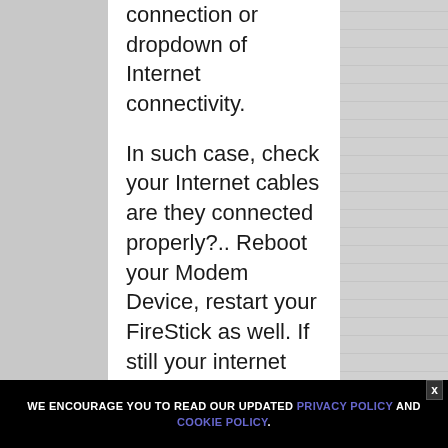connection or dropdown of Internet connectivity.
In such case, check your Internet cables are they connected properly?.. Reboot your Modem Device, restart your FireStick as well. If still your internet connection doesn't regularized then call your Internet service provider.
2. Enable Unknown Sources If Unable to Install...
WE ENCOURAGE YOU TO READ OUR UPDATED PRIVACY POLICY AND COOKIE POLICY.